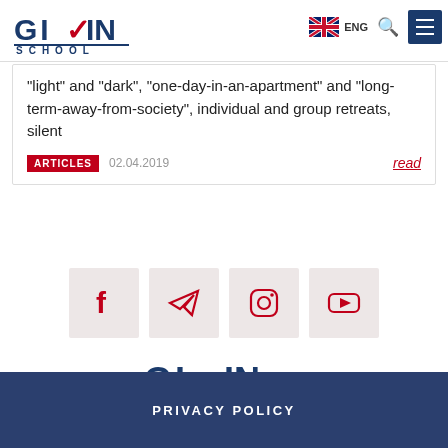[Figure (logo): Givin School logo with blue text and red checkmark accent, top left header]
[Figure (illustration): UK flag icon with ENG label, search icon, and dark blue hamburger menu button in header right]
“light” and “dark”, “one-day-in-an-apartment” and “long-term-away-from-society”, individual and group retreats, silent
ARTICLES   02.04.2019   read
[Figure (illustration): Four social media icon buttons: Facebook, Telegram, Instagram, YouTube, each on a light pink/beige square background]
[Figure (logo): Givin School logo centered above dark footer]
PRIVACY POLICY